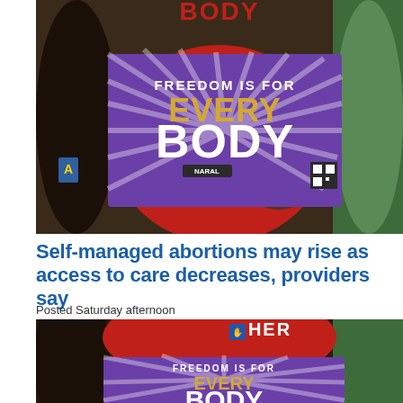[Figure (photo): Person in red shirt holding a purple NARAL sign reading 'FREEDOM IS FOR EVERY BODY' with sunburst pattern]
Self-managed abortions may rise as access to care decreases, providers say
Posted Saturday afternoon
[Figure (photo): Same person in red shirt holding a purple sign reading 'FREEDOM IS FOR EVERY BODY', partial view cropped at bottom, t-shirt reads 'HER BODY']